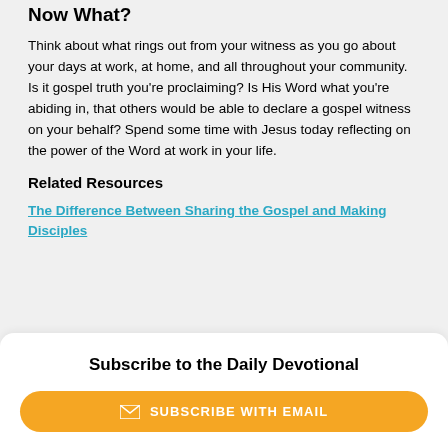Now What?
Think about what rings out from your witness as you go about your days at work, at home, and all throughout your community. Is it gospel truth you’re proclaiming? Is His Word what you’re abiding in, that others would be able to declare a gospel witness on your behalf? Spend some time with Jesus today reflecting on the power of the Word at work in your life.
Related Resources
The Difference Between Sharing the Gospel and Making Disciples
Subscribe to the Daily Devotional
SUBSCRIBE WITH EMAIL